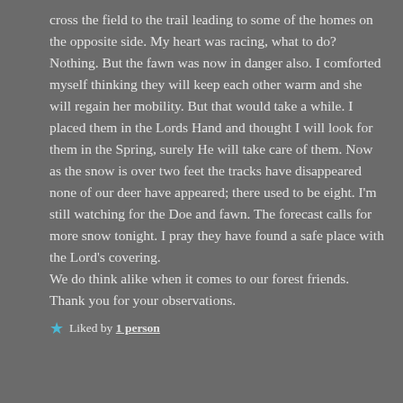cross the field to the trail leading to some of the homes on the opposite side. My heart was racing, what to do? Nothing. But the fawn was now in danger also. I comforted myself thinking they will keep each other warm and she will regain her mobility. But that would take a while. I placed them in the Lords Hand and thought I will look for them in the Spring, surely He will take care of them. Now as the snow is over two feet the tracks have disappeared none of our deer have appeared; there used to be eight. I'm still watching for the Doe and fawn. The forecast calls for more snow tonight. I pray they have found a safe place with the Lord's covering.
We do think alike when it comes to our forest friends. Thank you for your observations.
★ Liked by 1 person